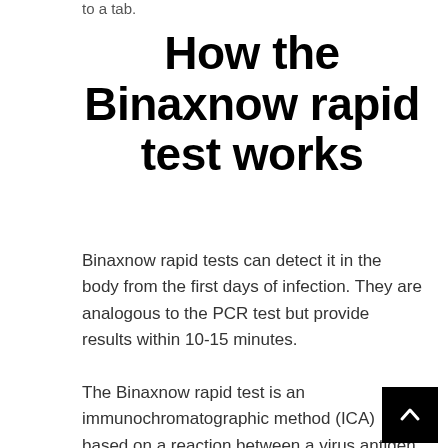to a tab.
How the Binaxnow rapid test works
Binaxnow rapid tests can detect it in the body from the first days of infection. They are analogous to the PCR test but provide results within 10-15 minutes.
The Binaxnow rapid test is an immunochromatographic method (ICA) based on a reaction between a virus antigen and a corresponding antibody in biological materials (blood, saliva). If this interaction occurs, there is staining on a chromatographic strip of the test